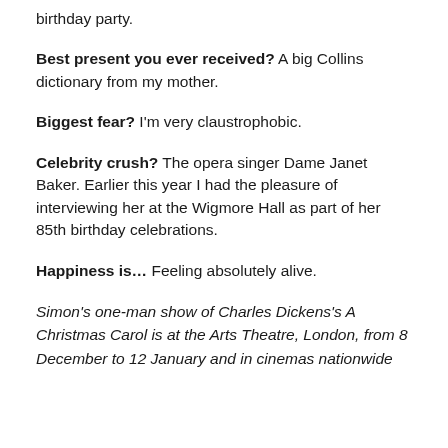birthday party.
Best present you ever received? A big Collins dictionary from my mother.
Biggest fear? I'm very claustrophobic.
Celebrity crush? The opera singer Dame Janet Baker. Earlier this year I had the pleasure of interviewing her at the Wigmore Hall as part of her 85th birthday celebrations.
Happiness is… Feeling absolutely alive.
Simon's one-man show of Charles Dickens's A Christmas Carol is at the Arts Theatre, London, from 8 December to 12 January and in cinemas nationwide on…